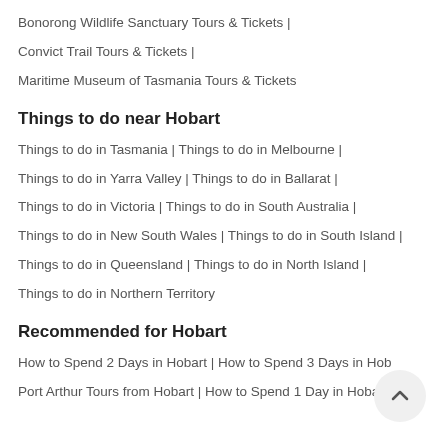Bonorong Wildlife Sanctuary Tours & Tickets |
Convict Trail Tours & Tickets |
Maritime Museum of Tasmania Tours & Tickets
Things to do near Hobart
Things to do in Tasmania | Things to do in Melbourne |
Things to do in Yarra Valley | Things to do in Ballarat |
Things to do in Victoria | Things to do in South Australia |
Things to do in New South Wales | Things to do in South Island |
Things to do in Queensland | Things to do in North Island |
Things to do in Northern Territory
Recommended for Hobart
How to Spend 2 Days in Hobart | How to Spend 3 Days in Hob…
Port Arthur Tours from Hobart | How to Spend 1 Day in Hobart…